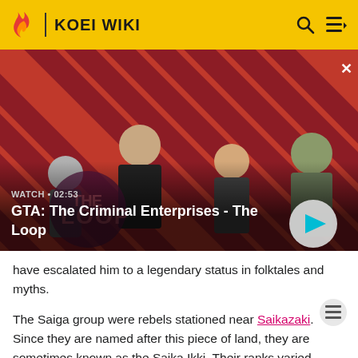KOEI WIKI
[Figure (screenshot): GTA: The Criminal Enterprises - The Loop video thumbnail with four characters on a red diagonal stripe background. Shows WATCH • 02:53 label and play button.]
have escalated him to a legendary status in folktales and myths.
The Saiga group were rebels stationed near Saikazaki. Since they are named after this piece of land, they are sometimes known as the Saika Ikki. Their ranks varied